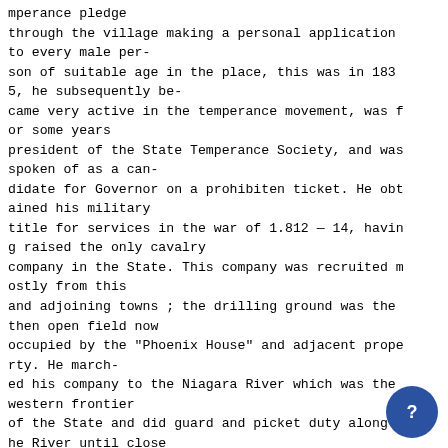mperance pledge through the village making a personal application to every male per- son of suitable age in the place, this was in 183 5, he subsequently be- came very active in the temperance movement, was f or some years president of the State Temperance Society, and was spoken of as a can- didate for Governor on a prohibiten ticket. He obt ained his military title for services in the war of 1.812 — 14, havin g raised the only cavalry company in the State. This company was recruited m ostly from this and adjoining towns ; the drilling ground was the then open field now occupied by the "Phoenix House" and adjacent prope rty. He march- ed his company to the Niagara River which was the western frontier of the State and did guard and picket duty along t he River until close of the war. Although never in a general engage they were con-